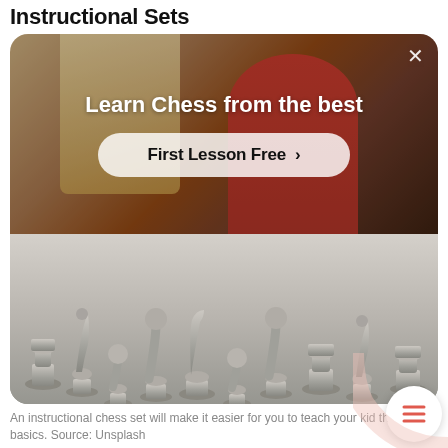Instructional Sets
[Figure (screenshot): A composite image: top half shows a person in a red shirt with warm lighting and an overlay reading 'Learn Chess from the best' with a 'First Lesson Free >' button and an X close button. Bottom half shows a grayscale photo of chess pieces arranged in a row on a white surface.]
An instructional chess set will make it easier for you to teach your kid the basics. Source: Unsplash
The first type of chess set we'll cover is the instructional set. In our eyes, an instructional chess set that introduces a beginner to the b of chess in an innovative way. These types of sets are great if your child has no prior knowledge of